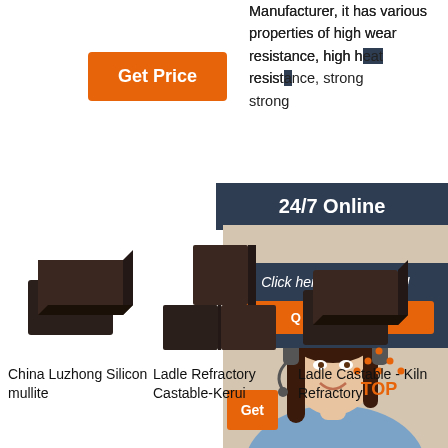[Figure (photo): Orange 'Get Price' button]
Manufacturer, it has various properties of high wear resistance, high heat resistance, strong
[Figure (infographic): 24/7 Online chat agent overlay panel with woman wearing headset, 'Click here for free chat!' text, and orange QUOTATION button]
[Figure (photo): China Luzhong Silicon mullite brick product photo - dark brown refractory bricks]
China Luzhong Silicon mullite
[Figure (photo): Ladle Refractory Castable-Kerui product photo - dark brown bricks in T shape]
Ladle Refractory Castable-Kerui
[Figure (photo): Ladle Castable - Kiln Refractory product photo - dark brown bricks]
Ladle Castable - Kiln Refractory